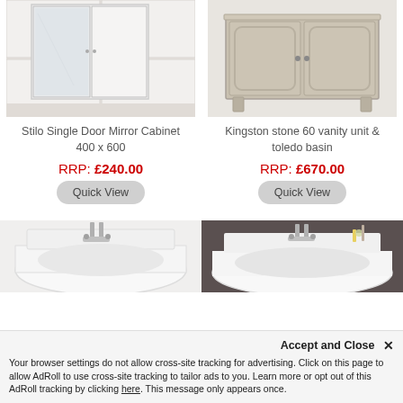[Figure (photo): Stilo Single Door Mirror Cabinet wall-mounted in a white bathroom]
[Figure (photo): Kingston stone 60 vanity unit with toledo basin in grey/beige colour]
Stilo Single Door Mirror Cabinet 400 x 600
RRP: £240.00
Quick View
Kingston stone 60 vanity unit & toledo basin
RRP: £670.00
Quick View
[Figure (photo): White ceramic basin with chrome tap on white background]
[Figure (photo): White ceramic basin with chrome tap on dark grey/brown background]
Accept and Close ✕
Your browser settings do not allow cross-site tracking for advertising. Click on this page to allow AdRoll to use cross-site tracking to tailor ads to you. Learn more or opt out of this AdRoll tracking by clicking here. This message only appears once.